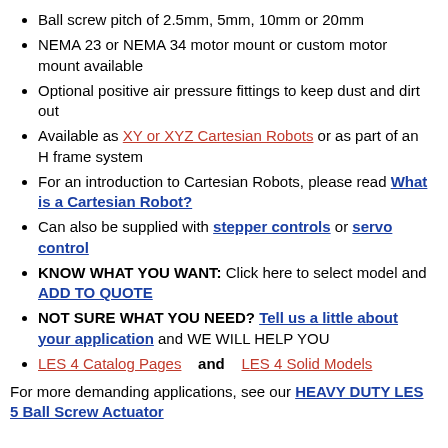Ball screw pitch of 2.5mm, 5mm, 10mm or 20mm
NEMA 23 or NEMA 34 motor mount or custom motor mount available
Optional positive air pressure fittings to keep dust and dirt out
Available as XY or XYZ Cartesian Robots or as part of an H frame system
For an introduction to Cartesian Robots, please read What is a Cartesian Robot?
Can also be supplied with stepper controls or servo control
KNOW WHAT YOU WANT: Click here to select model and ADD TO QUOTE
NOT SURE WHAT YOU NEED? Tell us a little about your application and WE WILL HELP YOU
LES 4 Catalog Pages   and   LES 4 Solid Models
For more demanding applications, see our HEAVY DUTY LES 5 Ball Screw Actuator